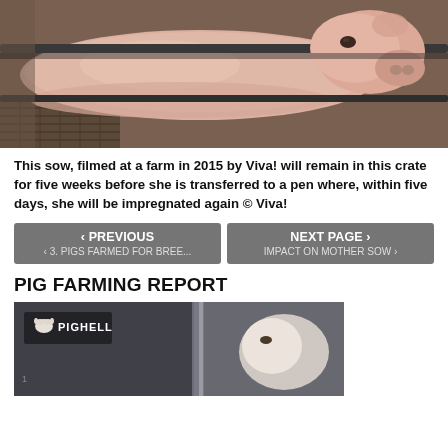[Figure (photo): A sow confined in a farrowing crate, photographed close-up showing the pig's body and head through metal bars, with a dark floor visible below.]
This sow, filmed at a farm in 2015 by Viva! will remain in this crate for five weeks before she is transferred to a pen where, within five days, she will be impregnated again © Viva!
‹ PREVIOUS
‹ 3. PIGS FARMED FOR BREE...
NEXT PAGE ›
IMPACT ON MOTHER SOW ›
PIG FARMING REPORT
[Figure (photo): A dark photograph showing a pig in a crate, with PIGHELL logo overlay in the top-left corner. A white pig is partially visible on the right side through what appears to be bars or a door.]